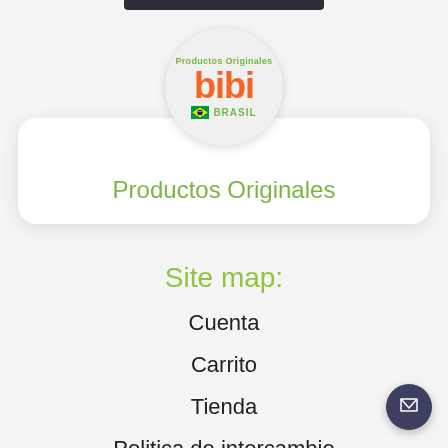[Figure (logo): Bibi Brasil logo — circular badge with 'Productos Originales' text in green, 'bibi' in orange bold letters, Brazilian flag icon, and 'BRASIL' text in green]
Productos Originales
Site map:
Cuenta
Carrito
Tienda
Politica de intercambio